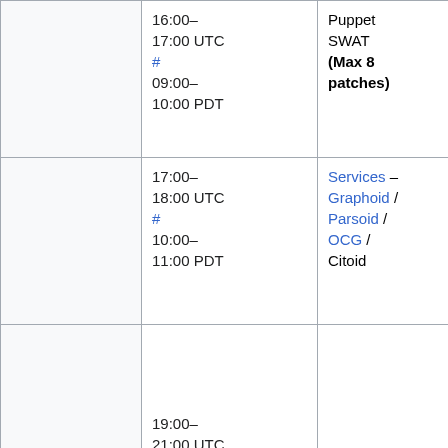|  | Time | Event | Deployers |
| --- | --- | --- | --- |
|  | 16:00–17:00 UTC # 09:00–10:00 PDT | Puppet SWAT (Max 8 patches) | Filippo (godog) Moritz (moritz… |
|  | 17:00–18:00 UTC # 10:00–11:00 PDT | Services – Graphoid / Parsoid / OCG / Citoid | Yuri (yurik), G… (gwicke), C.Sc… (cscott), Arlo (arlolra), Su… (subbu) |
|  | 19:00–21:00 UTC # 12:00–14:00 PDT | MediaWiki train | Tyler (thcipri… |